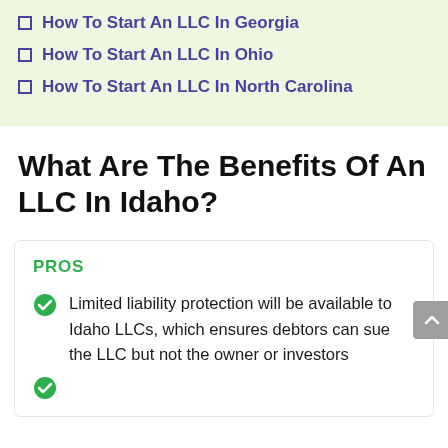How To Start An LLC In Georgia
How To Start An LLC In Ohio
How To Start An LLC In North Carolina
What Are The Benefits Of An LLC In Idaho?
PROS
Limited liability protection will be available to Idaho LLCs, which ensures debtors can sue the LLC but not the owner or investors